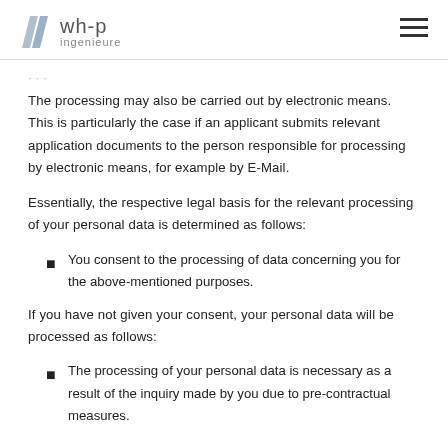wh-p ingenieure
The processing may also be carried out by electronic means. This is particularly the case if an applicant submits relevant application documents to the person responsible for processing by electronic means, for example by E-Mail.
Essentially, the respective legal basis for the relevant processing of your personal data is determined as follows:
You consent to the processing of data concerning you for the above-mentioned purposes.
If you have not given your consent, your personal data will be processed as follows:
The processing of your personal data is necessary as a result of the inquiry made by you due to pre-contractual measures.